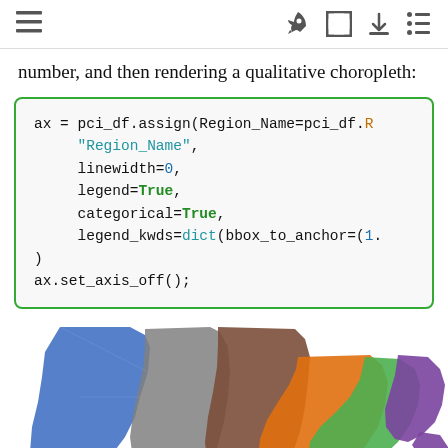toolbar with menu, rocket, expand, download, list icons
number, and then rendering a qualitative choropleth:
ax = pci_df.assign(Region_Name=pci_df.R
     "Region_Name",
     linewidth=0,
     legend=True,
     categorical=True,
     legend_kwds=dict(bbox_to_anchor=(1.
)
ax.set_axis_off();
[Figure (map): Choropleth map of the United States showing regions colored by qualitative category: blue (West), gray (Mountain/Plains), brown (Midwest), orange (South-Central), green (Southeast), purple (Northeast)]